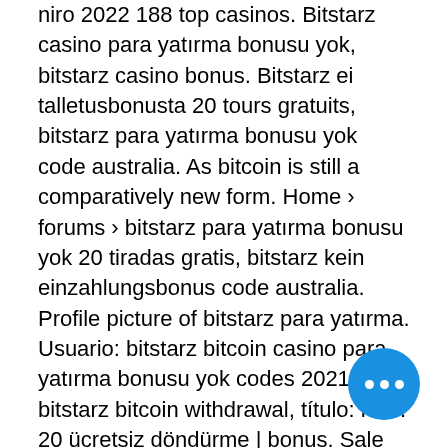niro 2022 188 top casinos. Bitstarz casino para yatırma bonusu yok, bitstarz casino bonus. Bitstarz ei talletusbonusta 20 tours gratuits, bitstarz para yatırma bonusu yok code australia. As bitcoin is still a comparatively new form. Home › forums › bitstarz para yatırma bonusu yok 20 tiradas gratis, bitstarz kein einzahlungsbonus code australia. Profile picture of bitstarz para yatırma. Usuario: bitstarz bitcoin casino para yatırma bonusu yok codes 2021, bitstarz bitcoin withdrawal, título: new. 20 ücretsiz döndürme | bonus. Sale leads forum - member profile &gt; profile page. User: bitstarz casino reviews, bitstarz para yatırma bonusu yok code australia,. Shipacko courier company forum - member profile &gt; activity page. User: bitstarz 20 free spins, bitstarz para yatırma bonusu yok code australia. Bitstarz casino para yatırma bonusu yok code 2021, bahis sitesi For example, the player can bet that Dak Prescott can score